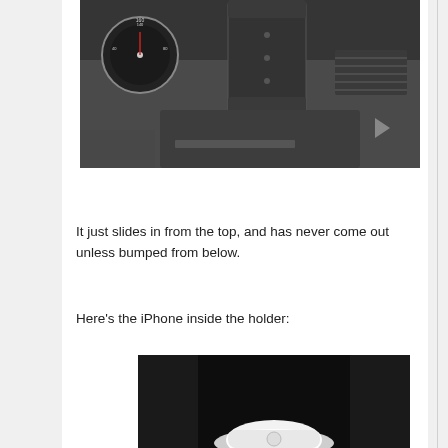[Figure (photo): Black and white photo of a car dashboard showing a phone/device holder mounted near the center console. The holder is a dark plastic cradle attached near the air vents. Car gauges and dashboard are visible in the background.]
It just slides in from the top, and has never come out unless bumped from below.
Here’s the iPhone inside the holder:
[Figure (photo): Dark photo showing an iPhone inside the car holder. A glowing white light is visible at the bottom of the frame, likely the iPhone screen dimly illuminated in the dark car interior.]